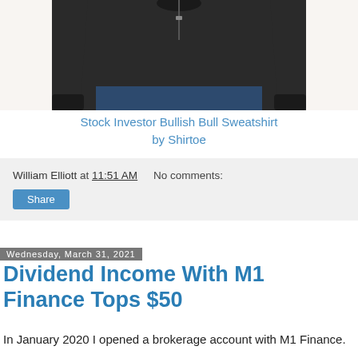[Figure (photo): Person wearing a black sweatshirt with jeans, torso and arms visible, cropped at top]
Stock Investor Bullish Bull Sweatshirt
by Shirtoe
William Elliott at 11:51 AM   No comments:
Share
Wednesday, March 31, 2021
Dividend Income With M1 Finance Tops $50
In January 2020 I opened a brokerage account with M1 Finance.